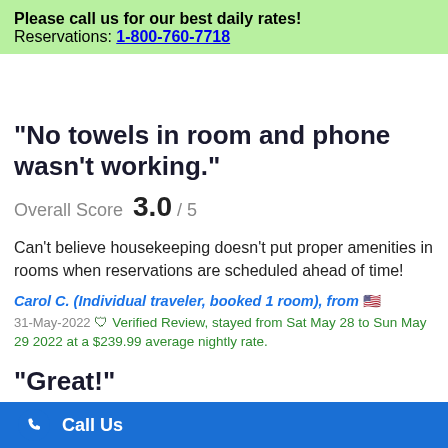Please call us for our best daily rates!
Reservations: 1-800-760-7718
"No towels in room and phone wasn't working."
Overall Score  3.0 / 5
Can't believe housekeeping doesn't put proper amenities in rooms when reservations are scheduled ahead of time!
Carol C. (Individual traveler, booked 1 room), from 🇺🇸
31-May-2022  Verified Review, stayed from Sat May 28 to Sun May 29 2022 at a $239.99 average nightly rate.
"Great!"
Overall Score  5.0 / 5
Call Us